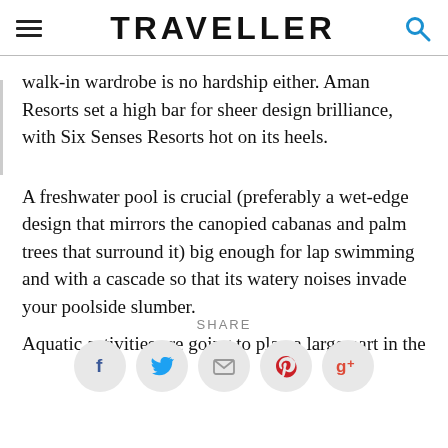TRAVELLER
walk-in wardrobe is no hardship either. Aman Resorts set a high bar for sheer design brilliance, with Six Senses Resorts hot on its heels.
A freshwater pool is crucial (preferably a wet-edge design that mirrors the canopied cabanas and palm trees that surround it) big enough for lap swimming and with a cascade so that its watery noises invade your poolside slumber.
Aquatic activities are going to play a large part in the
SHARE